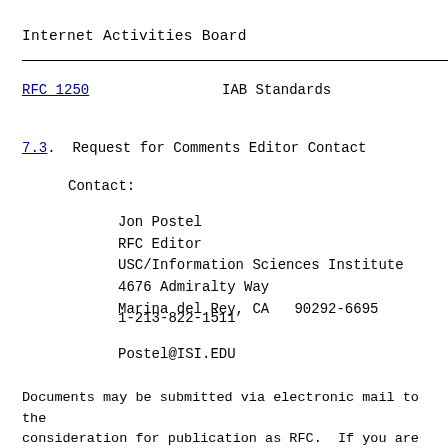Internet Activities Board
RFC 1250                                    IAB Standards
7.3.  Request for Comments Editor Contact
Contact:
Jon Postel
RFC Editor
USC/Information Sciences Institute
4676 Admiralty Way
Marina del Rey, CA  90292-6695
1-213-822-1511
Postel@ISI.EDU
Documents may be submitted via electronic mail to the consideration for publication as RFC.  If you are not the format or style requirements please request the "I RFC Authors".  In general, the style of any recent RFC